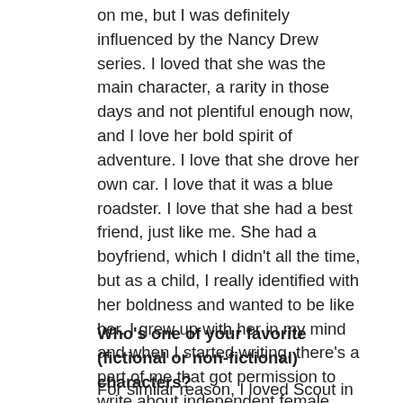on me, but I was definitely influenced by the Nancy Drew series. I loved that she was the main character, a rarity in those days and not plentiful enough now, and I love her bold spirit of adventure. I love that she drove her own car. I love that it was a blue roadster. I love that she had a best friend, just like me. She had a boyfriend, which I didn't all the time, but as a child, I really identified with her boldness and wanted to be like her. I grew up with her in my mind and when I started writing, there's a part of me that got permission to write about independent female heroines from Nancy Drew! Not to mention my mother, whom we called Mother Mary, who was strongly flavored herself, in a most delightful way!
Who's one of your favorite (fictional or non-fictional) characters?
For similar reason, I loved Scout in TO KILL A